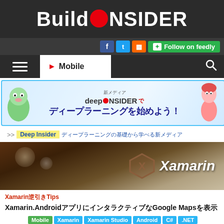Build INSIDER
Follow on feedly
Mobile
[Figure (illustration): Deep Insider advertisement banner with Japanese text ディープラーニングを始めよう! (Let's start deep learning!) with mascot characters]
>> Deep Insider ディープラーニングの基礎から学べる
[Figure (photo): Xamarin hero banner with book background and Xamarin logo]
Xamarin逆引きTips
Xamarin.AndroidアプリにインタラクティブなインタラクティブなGoogle Mapsを表示
Mobile Xamarin Xamarin Studio Android C# .NET Google Maps
2014年10月1日